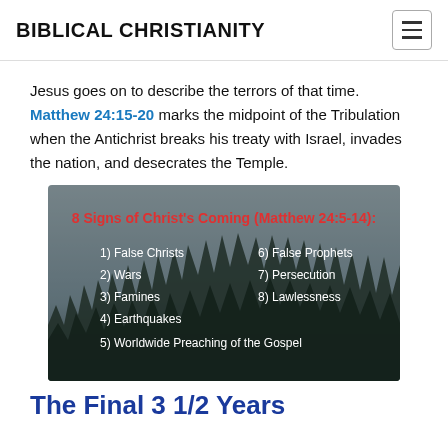BIBLICAL CHRISTIANITY
Jesus goes on to describe the terrors of that time. Matthew 24:15-20 marks the midpoint of the Tribulation when the Antichrist breaks his treaty with Israel, invades the nation, and desecrates the Temple.
[Figure (infographic): Dark atmospheric image with forest silhouette showing '8 Signs of Christ's Coming (Matthew 24:5-14)' in red text, listing 8 signs in two columns: 1) False Christs, 2) Wars, 3) Famines, 4) Earthquakes, 5) Worldwide Preaching of the Gospel, 6) False Prophets, 7) Persecution, 8) Lawlessness]
The Final 3 1/2 Years